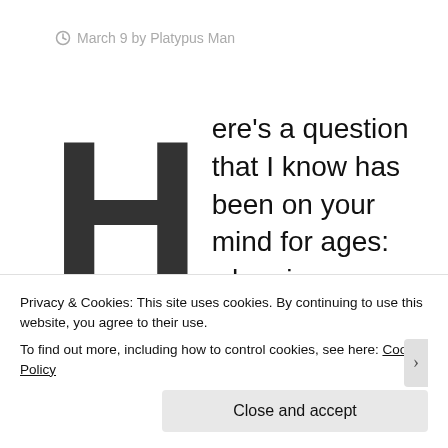March 9 by Platypus Man
Here's a question that I know has been on your mind for ages: when is a goose not a goose? The answer is, quite simply, "When it's an Egyptian Goose."
Privacy & Cookies: This site uses cookies. By continuing to use this website, you agree to their use.
To find out more, including how to control cookies, see here: Cookie Policy